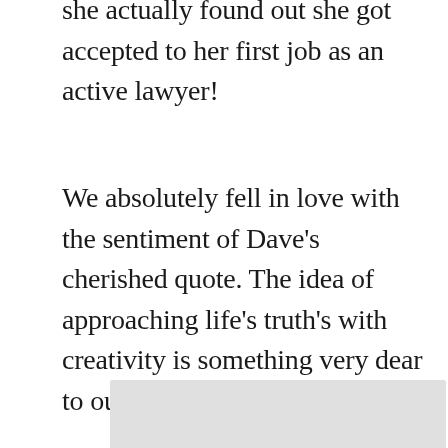she actually found out she got accepted to her first job as an active lawyer!
We absolutely fell in love with the sentiment of Dave's cherished quote. The idea of approaching life's truth's with creativity is something very dear to our hearts and Dave's as well.
[Figure (photo): Partially visible image at the bottom of the page with a light gray background]